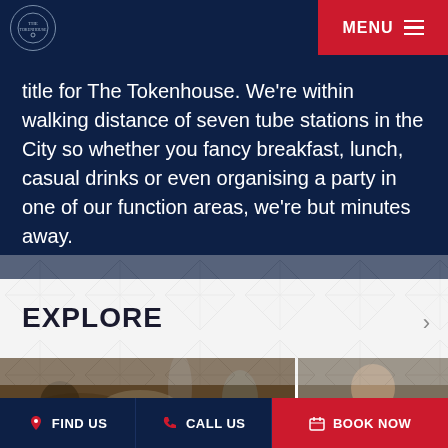MENU
title for The Tokenhouse. We're within walking distance of seven tube stations in the City so whether you fancy breakfast, lunch, casual drinks or even organising a party in one of our function areas, we're but minutes away.
EXPLORE
[Figure (photo): Blurred restaurant table setting with glasses, plates and food items]
[Figure (photo): Man in white shirt in restaurant/kitchen setting]
FIND US  CALL US  BOOK NOW